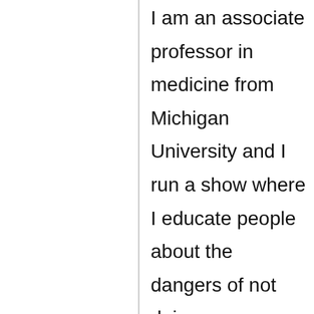I am an associate professor in medicine from Michigan University and I run a show where I educate people about the dangers of not doing proper genetic tests before marriage. At first, it was hard to have the kind of media influence I have today. All thanks to Yeh Yeh. It works.
Zeil Gather